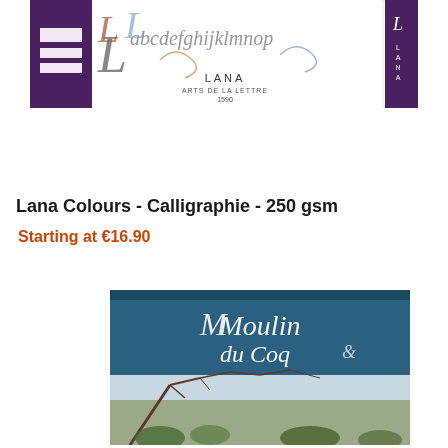[Figure (photo): Lana Colours Calligraphie paper pad product image showing calligraphy lettering on white background with purple spine and LANA branding]
Lana Colours - Calligraphie - 250 gsm
Starting at €16.90
[Figure (photo): Moulin du Coq paper product image with teal blue header showing cursive Moulin du Coq text and a winter tree branch scene at bottom]